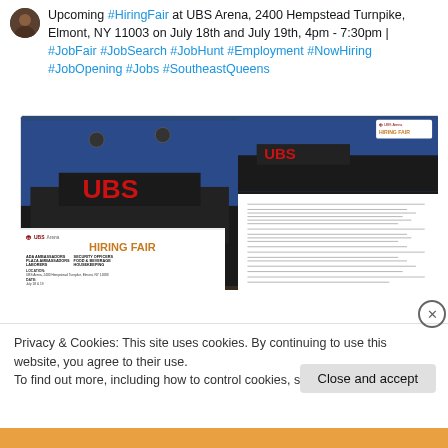Upcoming #HiringFair at UBS Arena, 2400 Hempstead Turnpike, Elmont, NY 11003 on July 18th and July 19th, 4pm - 7:30pm | #JobFair #JobSearch #JobHunt #Employment #NowHiring #JobOpening #Jobs #SoutheastQueens
[Figure (photo): Two-panel image showing UBS Arena exterior photo on the left and a UBS Arena Hiring Fair flyer on the right. The flyer lists positions: ADA Ambassadors, Plaza Ambassadors, Laborers, Security Officers, Food & Beverage, Housekeeping. Location: UBS Arena, 2400 Hempstead Turnpike, Elmont, NY 11003.]
Privacy & Cookies: This site uses cookies. By continuing to use this website, you agree to their use.
To find out more, including how to control cookies, see here: Cookie Policy
Close and accept